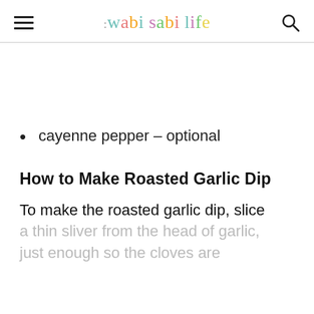wabi sabi life
cayenne pepper – optional
How to Make Roasted Garlic Dip
To make the roasted garlic dip, slice a thin sliver from the head of garlic, just enough so the cloves are